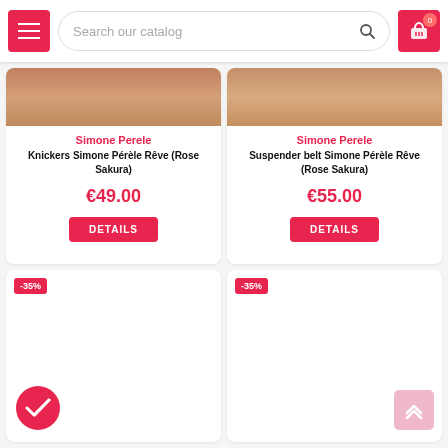Search our catalog
Simone Perele – Knickers Simone Pérèle Rêve (Rose Sakura) – €49.00 – DETAILS
Simone Perele – Suspender belt Simone Pérèle Rêve (Rose Sakura) – €55.00 – DETAILS
[Figure (screenshot): Product card with -35% badge, blank image area, and checkmark icon at bottom left]
[Figure (screenshot): Product card with -35% badge, blank image area, and scroll-to-top button at bottom right]